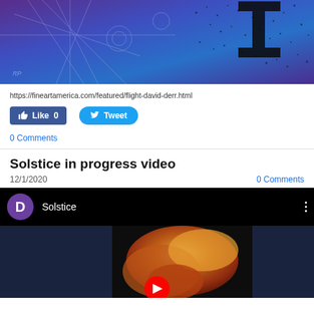[Figure (photo): Abstract digital artwork with purple and blue tones, featuring black textured marks and white line patterns, with an artist signature in the lower left.]
https://fineartamerica.com/featured/flight-david-derr.html
[Figure (infographic): Facebook Like button showing 'Like 0' and Twitter Tweet button side by side.]
0 Comments
Solstice in progress video
12/1/2020
0 Comments
[Figure (screenshot): Embedded YouTube-style video player showing a video titled 'Solstice' with a purple channel icon showing letter D, and a thumbnail of autumn leaf artwork on a dark background with a play button.]